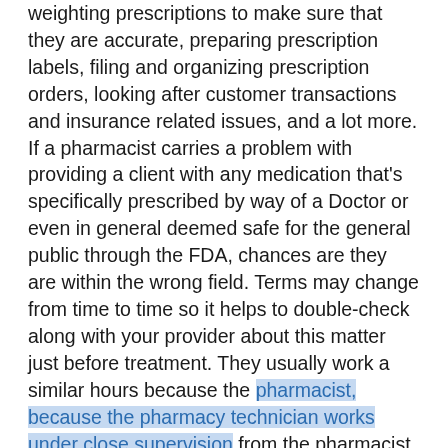weighting prescriptions to make sure that they are accurate, preparing prescription labels, filing and organizing prescription orders, looking after customer transactions and insurance related issues, and a lot more. If a pharmacist carries a problem with providing a client with any medication that's specifically prescribed by way of a Doctor or even in general deemed safe for the general public through the FDA, chances are they are within the wrong field. Terms may change from time to time so it helps to double-check along with your provider about this matter just before treatment. They usually work a similar hours because the pharmacist, because the pharmacy technician works under close supervision from the pharmacist. There are incredibly a number of good pharmacy tech schools, each for the internet and at campuses, that will give you the instruction you will need inside a short amount of time, typically from four months to 2 many years. This photo can be a page that fraudsters are maintaining. The answering services company company later changed its name to e - Telecare